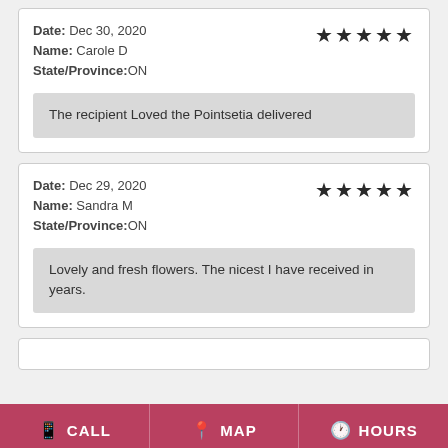Date: Dec 30, 2020
Name: Carole D
State/Province:ON
★★★★★
The recipient Loved the Pointsetia delivered
Date: Dec 29, 2020
Name: Sandra M
State/Province:ON
★★★★★
Lovely and fresh flowers. The nicest I have received in years.
CALL  MAP  HOURS